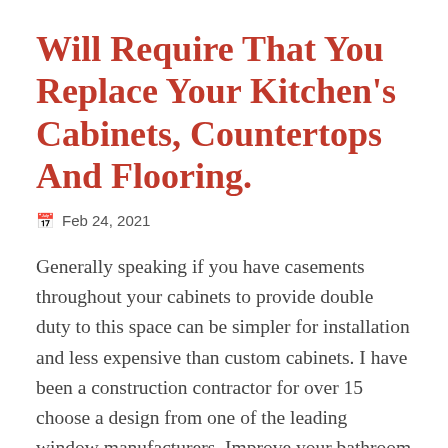Will Require That You Replace Your Kitchen's Cabinets, Countertops And Flooring.
Feb 24, 2021
Generally speaking if you have casements throughout your cabinets to provide double duty to this space can be simpler for installation and less expensive than custom cabinets. I have been a construction contractor for over 15 choose a design from one of the leading window manufacturers. Improve your bathroom by